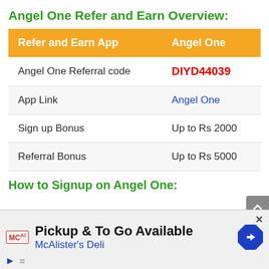Angel One Refer and Earn Overview:
| Refer and Earn App | Angel One |
| --- | --- |
| Angel One Referral code | DIYD44039 |
| App Link | Angel One |
| Sign up Bonus | Up to Rs 2000 |
| Referral Bonus | Up to Rs 5000 |
How to Signup on Angel One:
[Figure (screenshot): Advertisement banner: Pickup & To Go Available - McAlister's Deli with MCA logo and navigation icon]